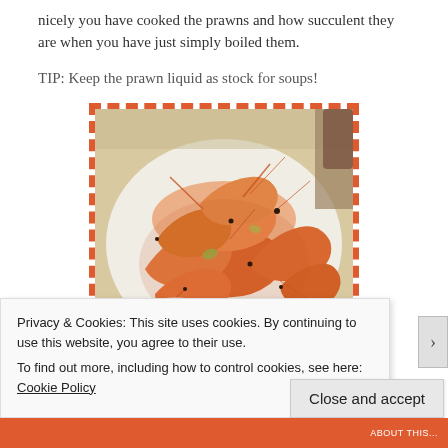nicely you have cooked the prawns and how succulent they are when you have just simply boiled them.
TIP: Keep the prawn liquid as stock for soups!
[Figure (photo): A plate of boiled prawns/shrimp piled high on a white plate, with orange-red shells and antennae visible, surrounded by a dashed orange border frame.]
Privacy & Cookies: This site uses cookies. By continuing to use this website, you agree to their use.
To find out more, including how to control cookies, see here: Cookie Policy
Close and accept